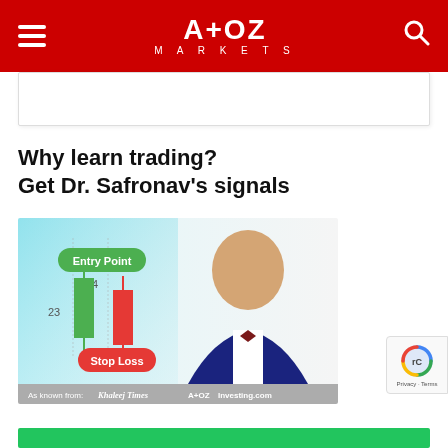A+OZ MARKETS
[Figure (other): Advertisement placeholder box]
Why learn trading?
Get Dr. Safronav's signals
[Figure (photo): Promotional image showing a man in a suit with candlestick chart graphics labeled 'Entry Point' and 'Stop Loss', with logos for Khaleej Times, A+OZ Markets, and Investing.com at the bottom]
[Figure (other): Google reCAPTCHA badge with Privacy and Terms links]
[Figure (other): Green call-to-action button bar at the bottom]